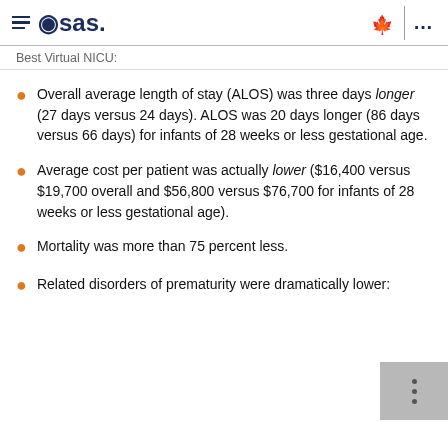SAS — Best Virtual NICU
Best Virtual NICU:
Overall average length of stay (ALOS) was three days longer (27 days versus 24 days). ALOS was 20 days longer (86 days versus 66 days) for infants of 28 weeks or less gestational age.
Average cost per patient was actually lower ($16,400 versus $19,700 overall and $56,800 versus $76,700 for infants of 28 weeks or less gestational age).
Mortality was more than 75 percent less.
Related disorders of prematurity were dramatically lower: